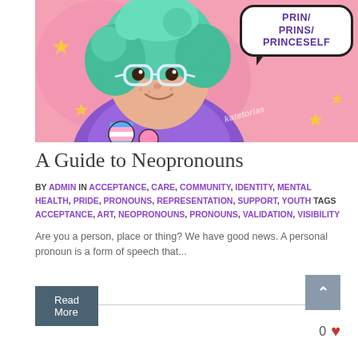[Figure (illustration): Comic-style illustration of a person with teal/green curly hair wearing glasses and a purple jacket with a transgender pride pin. Pink background with yellow stars. Speech bubble reads PRIN / PRINS / PRINCESELF. Watermark: katetorias]
A Guide to Neopronouns
BY ADMIN IN ACCEPTANCE, CARE, COMMUNITY, IDENTITY, MENTAL HEALTH, PRIDE, PRONOUNS, REPRESENTATION, SUPPORT, YOUTH TAGS ACCEPTANCE, ART, NEOPRONOUNS, PRONOUNS, VALIDATION, VISIBILITY
Are you a person, place or thing? We have good news. A personal pronoun is a form of speech that...
Read More